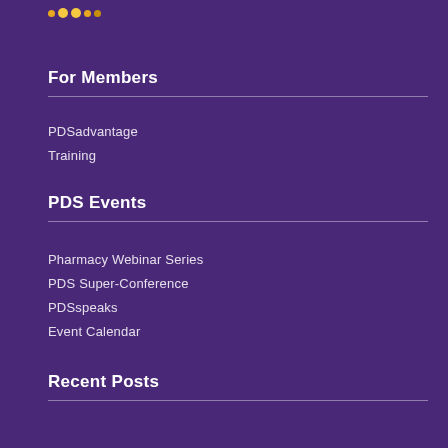[Figure (logo): Logo with golden/yellow dots at top left]
For Members
PDSadvantage
Training
PDS Events
Pharmacy Webinar Series
PDS Super-Conference
PDSspeaks
Event Calendar
Recent Posts